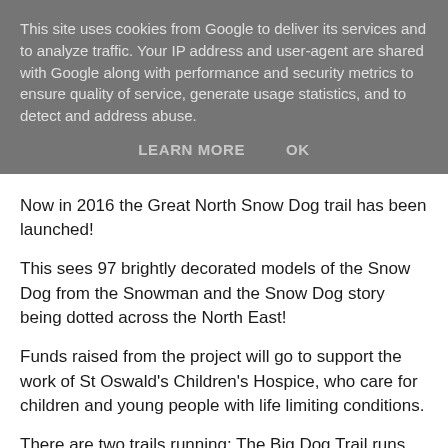This site uses cookies from Google to deliver its services and to analyze traffic. Your IP address and user-agent are shared with Google along with performance and security metrics to ensure quality of service, generate usage statistics, and to detect and address abuse.
LEARN MORE     OK
Now in 2016 the Great North Snow Dog trail has been launched!
This sees 97 brightly decorated models of the Snow Dog from the Snowman and the Snow Dog story being dotted across the North East!
Funds raised from the project will go to support the work of St Oswald's Children's Hospice, who care for children and young people with life limiting conditions.
There are two trails running: The Big Dog Trail runs from 19th September 2016 till 29th November 2016 and the Little Dog Trail runs from 19th September 2016 till 30th Ja...